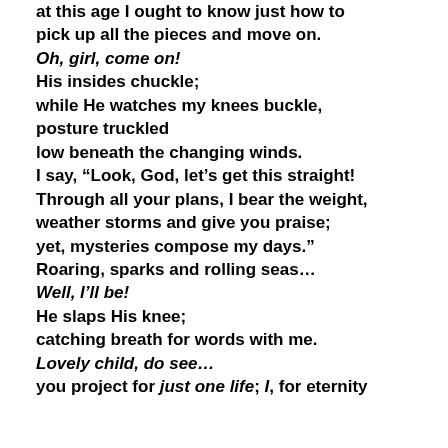at this age I ought to know just how to pick up all the pieces and move on. Oh, girl, come on! His insides chuckle; while He watches my knees buckle, posture truckled low beneath the changing winds. I say, “Look, God, let’s get this straight! Through all your plans, I bear the weight, weather storms and give you praise; yet, mysteries compose my days.” Roaring, sparks and rolling seas… Well, I’ll be! He slaps His knee; catching breath for words with me. Lovely child, do see… you project for just one life; I, for eternity